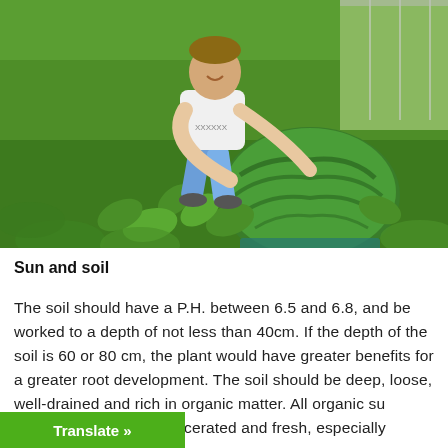[Figure (photo): A person bending down over a large watermelon growing in a green garden field. The person is wearing a white t-shirt and blue shorts. There are watermelon vines and lush green vegetation around. In the background there is a greenhouse structure.]
Sun and soil
The soil should have a P.H. between 6.5 and 6.8, and be worked to a depth of not less than 40cm. If the depth of the soil is 60 or 80 cm, the plant would have greater benefits for a greater root development. The soil should be deep, loose, well-drained and rich in organic matter. All organic su[bstances are gre]at if macerated and fresh, especially